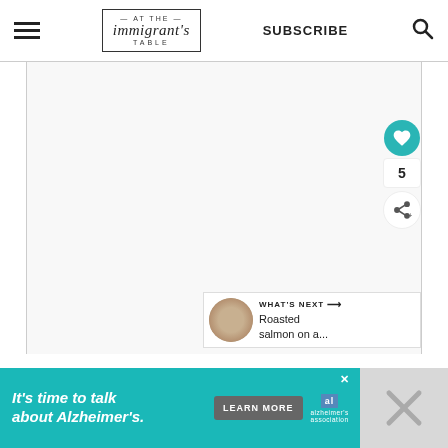At The Immigrant's Table — SUBSCRIBE
[Figure (screenshot): Main content area, mostly blank/white, with a heart/like button showing count 5, a share button, and a 'What's Next' panel showing 'Roasted salmon on a...']
[Figure (infographic): Ad banner: 'It's time to talk about Alzheimer's.' with LEARN MORE button and Alzheimer's Association logo]